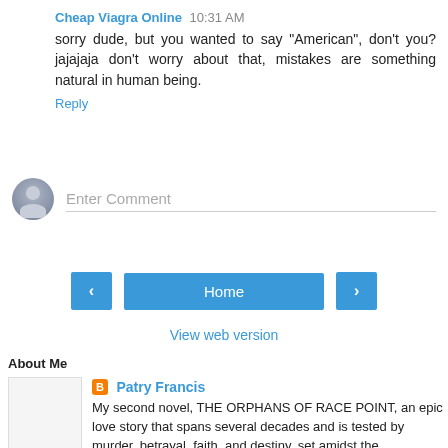Cheap Viagra Online  10:31 AM
sorry dude, but you wanted to say "American", don't you? jajajaja don't worry about that, mistakes are something natural in human being.
Reply
[Figure (other): Comment input area with avatar icon and 'Enter Comment' placeholder text field]
[Figure (other): Navigation buttons: left arrow, Home button, right arrow]
View web version
About Me
[Figure (other): Blogger profile photo placeholder (white/grey box)]
Patry Francis
My second novel, THE ORPHANS OF RACE POINT, an epic love story that spans several decades and is tested by murder, betrayal, faith, and destiny, set amidst the